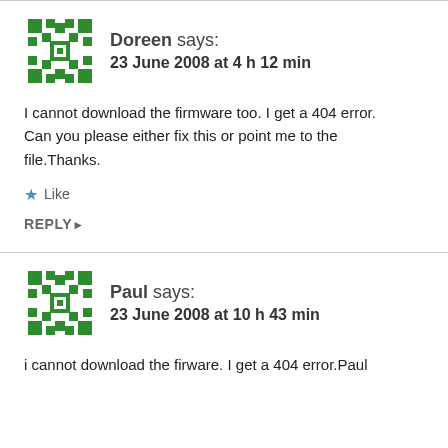Doreen says: 23 June 2008 at 4 h 12 min
I cannot download the firmware too. I get a 404 error. Can you please either fix this or point me to the file.Thanks.
★ Like
REPLY ▶
Paul says: 23 June 2008 at 10 h 43 min
i cannot download the firware. I get a 404 error.Paul